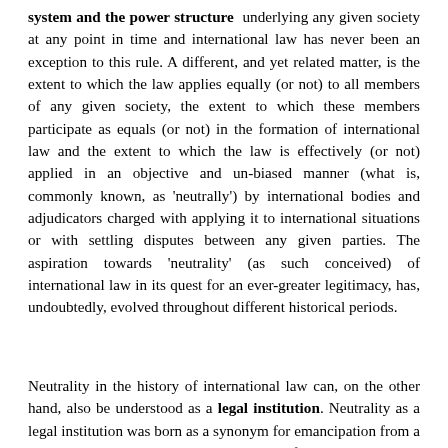system and the power structure underlying any given society at any point in time and international law has never been an exception to this rule. A different, and yet related matter, is the extent to which the law applies equally (or not) to all members of any given society, the extent to which these members participate as equals (or not) in the formation of international law and the extent to which the law is effectively (or not) applied in an objective and un-biased manner (what is, commonly known, as 'neutrally') by international bodies and adjudicators charged with applying it to international situations or with settling disputes between any given parties. The aspiration towards 'neutrality' (as such conceived) of international law in its quest for an ever-greater legitimacy, has, undoubtedly, evolved throughout different historical periods.
Neutrality in the history of international law can, on the other hand, also be understood as a legal institution. Neutrality as a legal institution was born as a synonym for emancipation from a rigorous moral top-down juridical-moral framework inherited from theology. Its theoretical